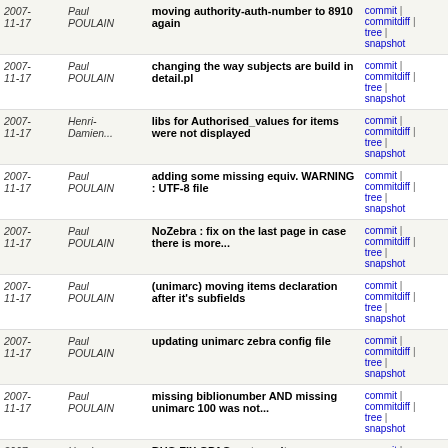| Date | Author | Message | Links |
| --- | --- | --- | --- |
| 2007-11-17 | Paul POULAIN | moving authority-auth-number to 8910 again | commit | commitdiff | tree | snapshot |
| 2007-11-17 | Paul POULAIN | changing the way subjects are build in detail.pl | commit | commitdiff | tree | snapshot |
| 2007-11-17 | Henri-Damien... | libs for Authorised_values for items were not displayed | commit | commitdiff | tree | snapshot |
| 2007-11-17 | Paul POULAIN | adding some missing equiv. WARNING : UTF-8 file | commit | commitdiff | tree | snapshot |
| 2007-11-17 | Paul POULAIN | NoZebra : fix on the last page in case there is more... | commit | commitdiff | tree | snapshot |
| 2007-11-17 | Paul POULAIN | (unimarc) moving items declaration after it's subfields | commit | commitdiff | tree | snapshot |
| 2007-11-17 | Paul POULAIN | updating unimarc zebra config file | commit | commitdiff | tree | snapshot |
| 2007-11-17 | Paul POULAIN | missing biblionumber AND missing unimarc 100 was not... | commit | commitdiff | tree | snapshot |
| 2007-11-17 | Henri-Damien... | BUG FIX OPAC sort results was broken | commit | commitdiff | tree | snapshot |
| 2007-11-17 | Paul POULAIN | porting sort_by stuff from staff to opac | commit | commitdiff | tree | snapshot |
| 2007- | Joe Atzberger | Members.pm: 1 stupid change | commit |